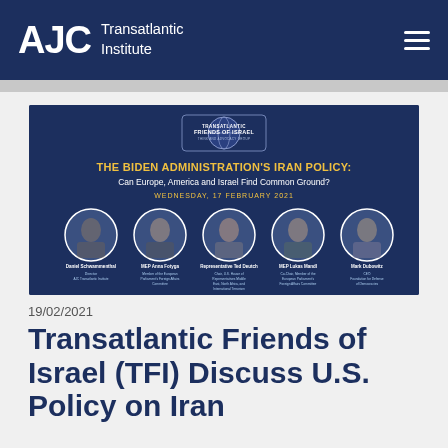AJC Transatlantic Institute
[Figure (infographic): Event banner for 'The Biden Administration's Iran Policy: Can Europe, America and Israel Find Common Ground?' webinar on Wednesday, 17 February 2021. Features five speaker headshots with names and titles on a dark blue background with Transatlantic Friends of Israel logo.]
19/02/2021
Transatlantic Friends of Israel (TFI) Discuss U.S. Policy on Iran